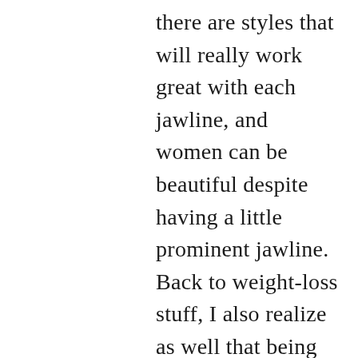there are styles that will really work great with each jawline, and women can be beautiful despite having a little prominent jawline. Back to weight-loss stuff, I also realize as well that being thin does not equate to being sexy. A woman can be a bit chubby and